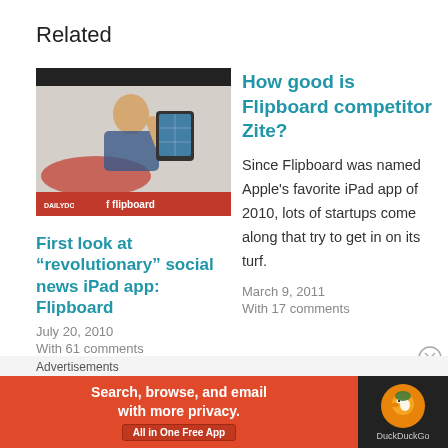Related
[Figure (photo): Person using a tablet (iPad) with Flipboard app open, shown with dark top bar and red bottom bar with Flipboard logo]
First look at “revolutionary” social news iPad app: Flipboard
July 20, 2010
With 61 comments
How good is Flipboard competitor Zite?
Since Flipboard was named Apple’s favorite iPad app of 2010, lots of startups come along that try to get in on its turf.
March 9, 2011
With 17 comments
Advertisements
[Figure (photo): DuckDuckGo advertisement banner: orange/red left side with text 'Search, browse, and email with more privacy. All in One Free App' and dark right side with DuckDuckGo duck logo]